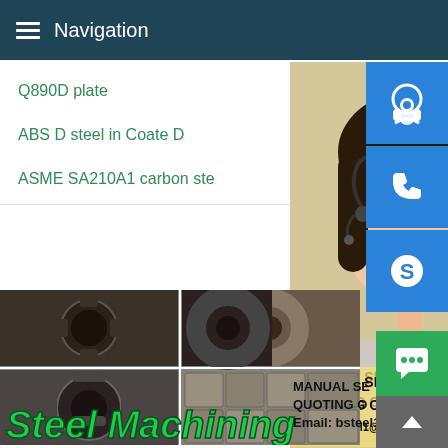Navigation
Q890D plate
ABS D steel in Coate D
ASME SA210A1 carbon ste
[Figure (photo): Customer service representative woman with headset, smiling, with overlaid contact icons (headset, phone, Skype)]
MANUAL SE
QUOTING O
Email: bsteel1@163.com
[Figure (photo): Steel machining parts collage - gears, rings, steel blocks in 2x2 grid with 'Steel Machining' text overlay in green italic bold]